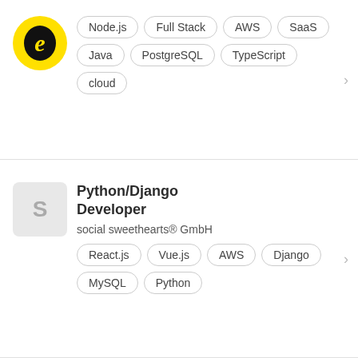[Figure (logo): Yellow circle logo with stylized 'e' letter in black]
Node.js
Full Stack
AWS
SaaS
Java
PostgreSQL
TypeScript
cloud
Python/Django Developer
social sweethearts® GmbH
React.js
Vue.js
AWS
Django
MySQL
Python